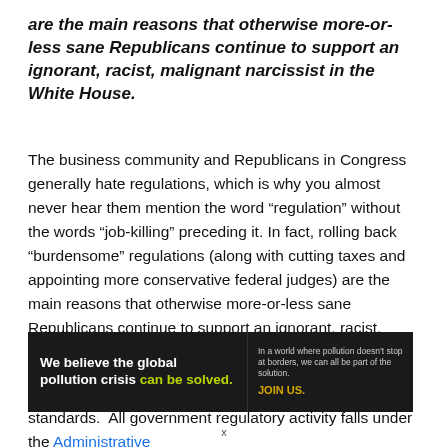are the main reasons that otherwise more-or-less sane Republicans continue to support an ignorant, racist, malignant narcissist in the White House.
The business community and Republicans in Congress generally hate regulations, which is why you almost never hear them mention the word “regulation” without the words “job-killing” preceding it. In fact, rolling back “burdensome” regulations (along with cutting taxes and appointing more conservative federal judges) are the main reasons that otherwise more-or-less sane Republicans continue to support an ignorant, racist, malignant narcissist in the White House.
And there’s a process for issuing regulations and standards.  All government regulatory activity falls under the Administrative
[Figure (infographic): Pure Earth advertisement banner: dark background on left with white bold text 'We believe the global pollution crisis can be solved.' with 'can be solved.' in green/yellow. Middle section with small white text 'In a world where pollution doesn’t stop at borders, we can all be part of the solution.' and yellow bold text 'JOIN US.' Right section with white background showing Pure Earth logo (diamond/arrow shape in gold/green) and bold text 'PURE EARTH'.]
x